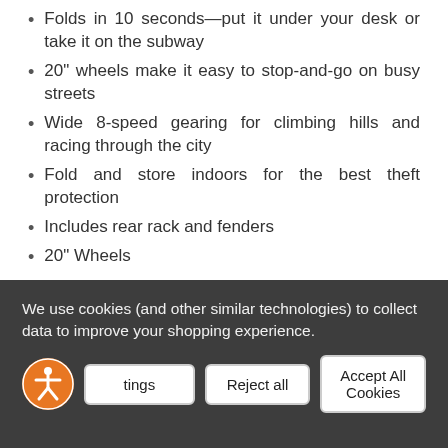Folds in 10 seconds—put it under your desk or take it on the subway
20" wheels make it easy to stop-and-go on busy streets
Wide 8-speed gearing for climbing hills and racing through the city
Fold and store indoors for the best theft protection
Includes rear rack and fenders
20" Wheels
COLOR
We use cookies (and other similar technologies) to collect data to improve your shopping experience.
Cookie Settings | Reject all | Accept All Cookies